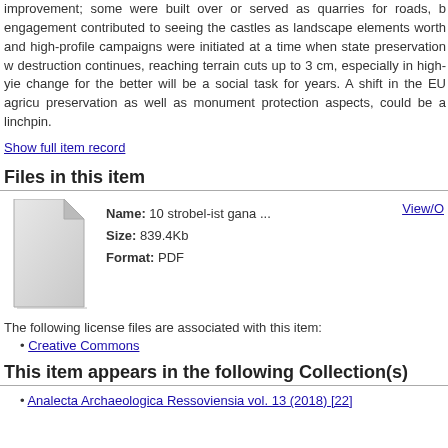improvement; some were built over or served as quarries for roads, b engagement contributed to seeing the castles as landscape elements worth and high-profile campaigns were initiated at a time when state preservation w destruction continues, reaching terrain cuts up to 3 cm, especially in high-yie change for the better will be a social task for years. A shift in the EU agricu preservation as well as monument protection aspects, could be a linchpin.
Show full item record
Files in this item
[Figure (other): Generic file icon (white document with folded corner, grey shading)]
Name: 10 strobel-ist gana ...
Size: 839.4Kb
Format: PDF
View/O
The following license files are associated with this item:
Creative Commons
This item appears in the following Collection(s)
Analecta Archaeologica Ressoviensia vol. 13 (2018) [22]